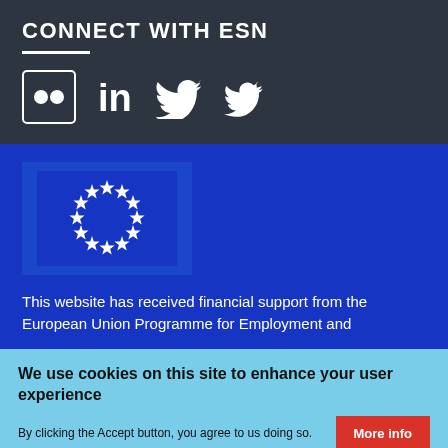CONNECT WITH ESN
[Figure (illustration): Social media icons: Flickr (two squares), LinkedIn (in), Twitter (bird) — white icons on dark background]
[Figure (logo): European Union flag: circle of 12 white stars on blue background]
This website has received financial support from the European Union Programme for Employment and
We use cookies on this site to enhance your user experience
By clicking the Accept button, you agree to us doing so.
More info
Accept
No, thanks